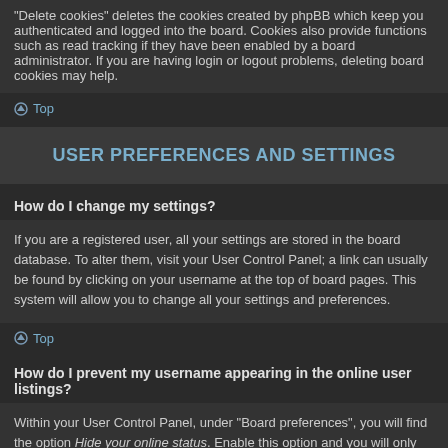"Delete cookies" deletes the cookies created by phpBB which keep you authenticated and logged into the board. Cookies also provide functions such as read tracking if they have been enabled by a board administrator. If you are having login or logout problems, deleting board cookies may help.
Top
USER PREFERENCES AND SETTINGS
How do I change my settings?
If you are a registered user, all your settings are stored in the board database. To alter them, visit your User Control Panel; a link can usually be found by clicking on your username at the top of board pages. This system will allow you to change all your settings and preferences.
Top
How do I prevent my username appearing in the online user listings?
Within your User Control Panel, under “Board preferences”, you will find the option Hide your online status. Enable this option and you will only appear to the administrators, moderators and yourself. You will be counted as a hidden user.